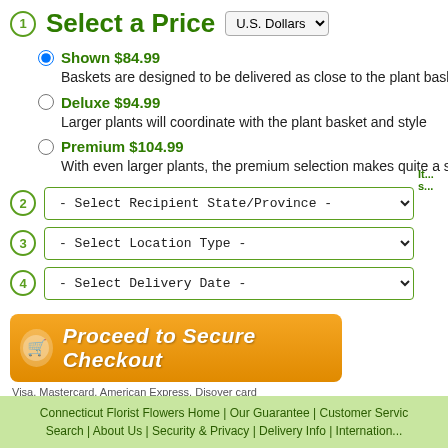1 Select a Price  U.S. Dollars
Shown $84.99 - Baskets are designed to be delivered as close to the plant basket pictured as possible.
Deluxe $94.99 - Larger plants will coordinate with the plant basket and style
Premium $104.99 - With even larger plants, the premium selection makes quite a statement.
2 - Select Recipient State/Province -
3 - Select Location Type -
4 - Select Delivery Date -
[Figure (other): Proceed to Secure Checkout orange button with shopping cart icon]
Visa, Mastercard, American Express, Disover card
Connecticut Florist Flowers Home | Our Guarantee | Customer Service | Search | About Us | Security & Privacy | Delivery Info | International